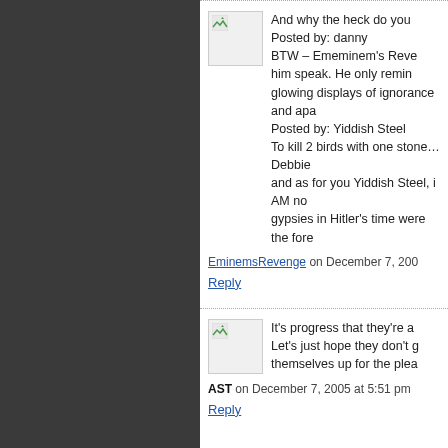And why the heck do you
Posted by: danny
BTW – Ememinem's Reve him speak. He only remind glowing displays of ignorance and apa
Posted by: Yiddish Steel
To kill 2 birds with one stone…Debbie and as for you Yiddish Steel, i AM no gypsies in Hitler's time were the fore
EminemsRevenge on December 7, 200
Reply
It's progress that they're a Let's just hope they don't g themselves up for the plea
AST on December 7, 2005 at 5:51 pm
Reply